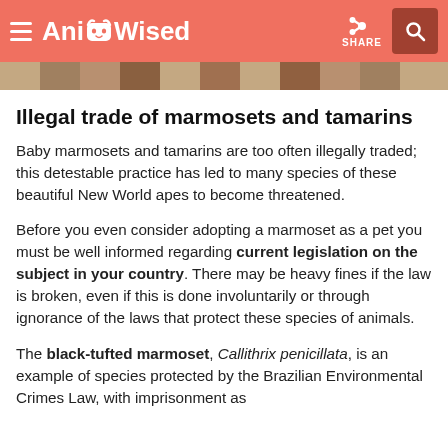AnimalWised
Illegal trade of marmosets and tamarins
Baby marmosets and tamarins are too often illegally traded; this detestable practice has led to many species of these beautiful New World apes to become threatened.
Before you even consider adopting a marmoset as a pet you must be well informed regarding current legislation on the subject in your country. There may be heavy fines if the law is broken, even if this is done involuntarily or through ignorance of the laws that protect these species of animals.
The black-tufted marmoset, Callithrix penicillata, is an example of species protected by the Brazilian Environmental Crimes Law, with imprisonment as